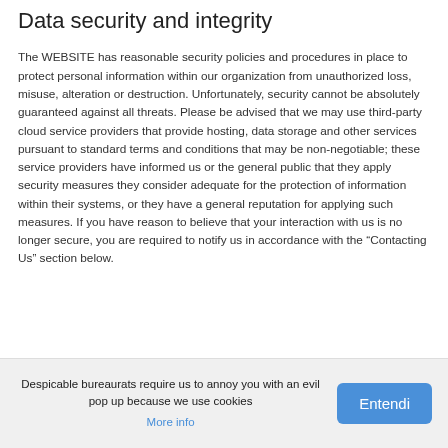Data security and integrity
The WEBSITE has reasonable security policies and procedures in place to protect personal information within our organization from unauthorized loss, misuse, alteration or destruction. Unfortunately, security cannot be absolutely guaranteed against all threats. Please be advised that we may use third-party cloud service providers that provide hosting, data storage and other services pursuant to standard terms and conditions that may be non-negotiable; these service providers have informed us or the general public that they apply security measures they consider adequate for the protection of information within their systems, or they have a general reputation for applying such measures. If you have reason to believe that your interaction with us is no longer secure, you are required to notify us in accordance with the “Contacting Us” section below.
Despicable bureaurats require us to annoy you with an evil pop up because we use cookies
More info
Entendi